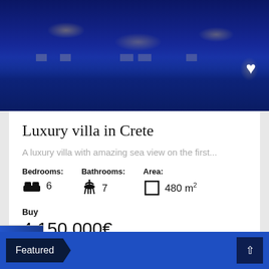[Figure (photo): Night photo of a luxury villa with blue illuminated facade and warm window lights]
Luxury villa in Crete
A luxury villa with amazing sea view on the first...
Bedrooms: 6   Bathrooms: 7   Area: 480 m²
Buy
4,150,000€
Featured